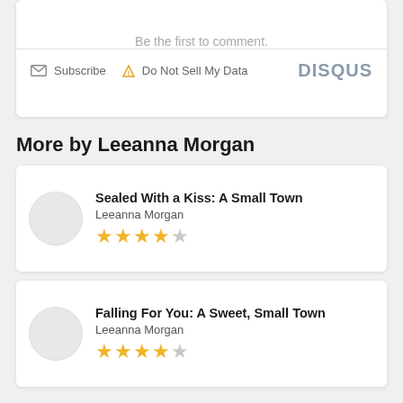Be the first to comment.
Subscribe  Do Not Sell My Data  DISQUS
More by Leeanna Morgan
Sealed With a Kiss: A Small Town
Leeanna Morgan
★★★★½
Falling For You: A Sweet, Small Town
Leeanna Morgan
★★★★½